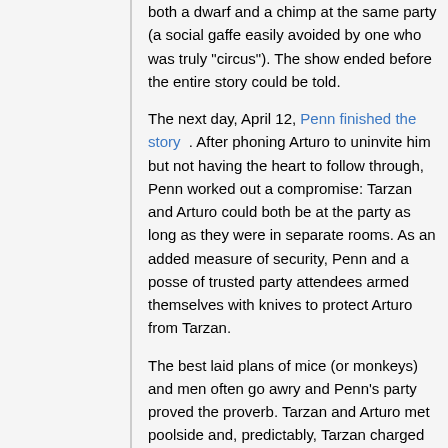both a dwarf and a chimp at the same party (a social gaffe easily avoided by one who was truly "circus"). The show ended before the entire story could be told.
The next day, April 12, Penn finished the story. After phoning Arturo to uninvite him but not having the heart to follow through, Penn worked out a compromise: Tarzan and Arturo could both be at the party as long as they were in separate rooms. As an added measure of security, Penn and a posse of trusted party attendees armed themselves with knives to protect Arturo from Tarzan.
The best laid plans of mice (or monkeys) and men often go awry and Penn's party proved the proverb. Tarzan and Arturo met poolside and, predictably, Tarzan charged Arturo. Arturo, more circus than Penn, wisely had a plan to jump into the swimming pool as Chimps hate water (Chimps, lacking buoyant body fat, sink like rocks in water). However, Arturo ended up "hauling ass" into Penn's house. Tarzan initially pursued Arturo but got distracted by the other guests. The party proceeded with the guests...